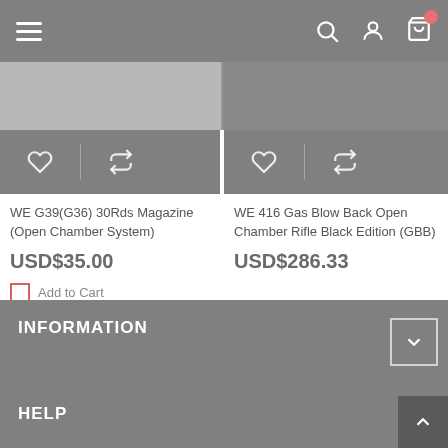Navigation header with hamburger menu, search, account, and cart icons
[Figure (screenshot): Partial product image left - WE G39 magazine, grey background]
[Figure (screenshot): Partial product image right - WE 416 rifle, grey background]
WE G39(G36) 30Rds Magazine (Open Chamber System)
USD$35.00
Add to Cart
WE 416 Gas Blow Back Open Chamber Rifle Black Edition (GBB)
USD$286.33
INFORMATION
HELP
INFORMATION | HELP footer section